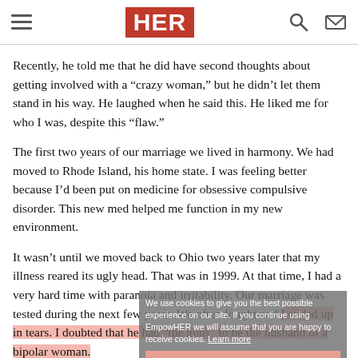HER
Recently, he told me that he did have second thoughts about getting involved with a “crazy woman,” but he didn’t let them stand in his way. He laughed when he said this. He liked me for who I was, despite this “flaw.”
The first two years of our marriage we lived in harmony. We had moved to Rhode Island, his home state. I was feeling better because I’d been put on medicine for obsessive compulsive disorder. This new med helped me function in my new environment.
It wasn’t until we moved back to Ohio two years later that my illness reared its ugly head. That was in 1999. At that time, I had a very hard time with paranoia and irritability. Our marriage was tested during the next few years. We often fought and I ended up in tears. I doubted that he had “the guns” to be the husband of a bipolar woman.
We use cookies to give you the best possible experience on our site. If you continue using EmpowHER we will assume that you are happy to receive cookies. Learn more